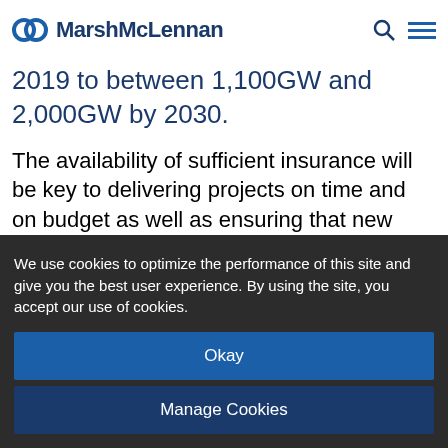MarshMcLennan
2019 to between 1,100GW and 2,000GW by 2030.
The availability of sufficient insurance will be key to delivering projects on time and on budget as well as ensuring that new start-up companies are able to raise the capital they need. How should construction companies risk manage their projects? And what other measures should they take to obtain the cost-effective construction insurance needed
We use cookies to optimize the performance of this site and give you the best user experience. By using the site, you accept our use of cookies.